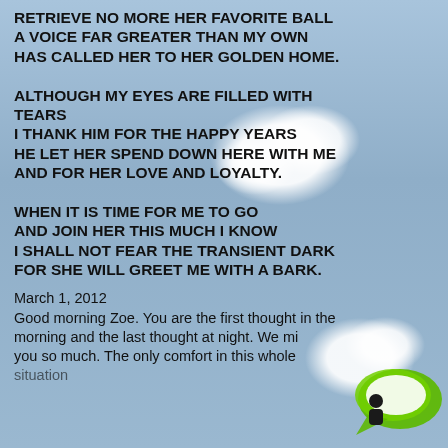RETRIEVE NO MORE HER FAVORITE BALL
A VOICE FAR GREATER THAN MY OWN
HAS CALLED HER TO HER GOLDEN HOME.

ALTHOUGH MY EYES ARE FILLED WITH TEARS
I THANK HIM FOR THE HAPPY YEARS
HE LET HER SPEND DOWN HERE WITH ME
AND FOR HER LOVE AND LOYALTY.

WHEN IT IS TIME FOR ME TO GO
AND JOIN HER THIS MUCH I KNOW
I SHALL NOT FEAR THE TRANSIENT DARK
FOR SHE WILL GREET ME WITH A BARK.
March 1, 2012
Good morning Zoe. You are the first thought in the morning and the last thought at night. We miss you so much. The only comfort in this whole situation